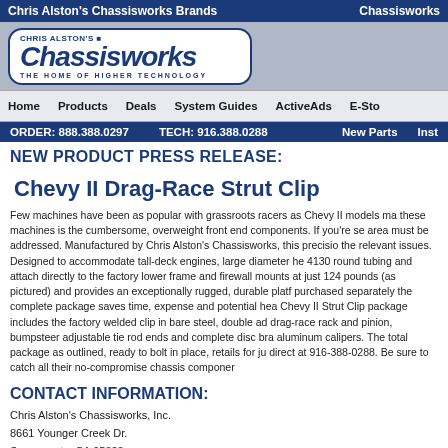Chris Alston's Chassisworks Brands | Chassisworks
[Figure (logo): Chris Alston's Chassisworks logo with text 'THE HOME OF HIGHER TECHNOLOGY']
Home | Products | Deals | System Guides | ActiveAds | E-Store
ORDER: 888.388.0297  TECH: 916.388.0288  New Parts  Inst
NEW PRODUCT PRESS RELEASE:
Chevy II Drag-Race Strut Clip
Few machines have been as popular with grassroots racers as Chevy II models ma...these machines is the cumbersome, overweight front end components. If you're se...area must be addressed. Manufactured by Chris Alston's Chassisworks, this precisio...the relevant issues. Designed to accommodate tall-deck engines, large diameter he...4130 round tubing and attach directly to the factory lower frame and firewall mounts...at just 124 pounds (as pictured) and provides an exceptionally rugged, durable platf...purchased separately the complete package saves time, expense and potential hea...Chevy II Strut Clip package includes the factory welded clip in bare steel, double ad...drag-race rack and pinion, bumpsteer adjustable tie rod ends and complete disc bra...aluminum calipers. The total package as outlined, ready to bolt in place, retails for ju...direct at 916-388-0288. Be sure to catch all their no-compromise chassis componer
CONTACT INFORMATION:
Chris Alston's Chassisworks, Inc.
8661 Younger Creek Dr.
Sacramento, CA 95828
Phone: 916.388.0288